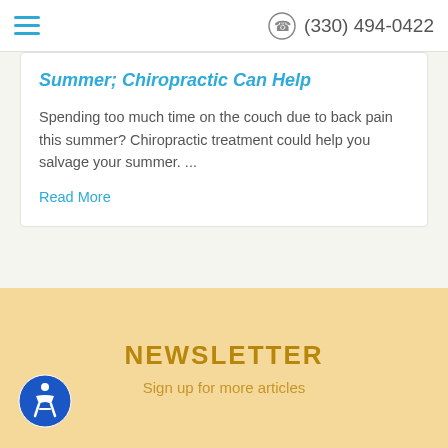(330) 494-0422
Summer; Chiropractic Can Help
Spending too much time on the couch due to back pain this summer? Chiropractic treatment could help you salvage your summer. ...
Read More
[Figure (other): Carousel pagination dots — one filled blue dot (active) followed by nine lighter dots, and a pause button circle on the right]
NEWSLETTER
Sign up for more articles